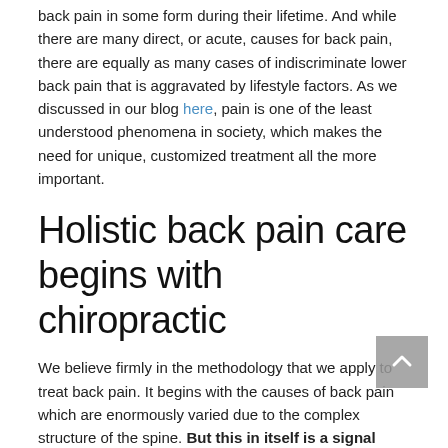back pain in some form during their lifetime. And while there are many direct, or acute, causes for back pain, there are equally as many cases of indiscriminate lower back pain that is aggravated by lifestyle factors. As we discussed in our blog here, pain is one of the least understood phenomena in society, which makes the need for unique, customized treatment all the more important.
Holistic back pain care begins with chiropractic
We believe firmly in the methodology that we apply to treat back pain. It begins with the causes of back pain which are enormously varied due to the complex structure of the spine. But this in itself is a signal difference in how we treat pain: many doctors fall disappointingly short when it comes to knowledge of musculoskeletal matters. How can you expect to treat something as complex as back pain, when you don't seek to understand the